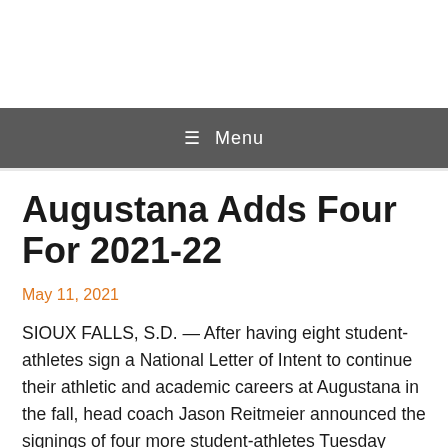☰ Menu
Augustana Adds Four For 2021-22
May 11, 2021
SIOUX FALLS, S.D. — After having eight student-athletes sign a National Letter of Intent to continue their athletic and academic careers at Augustana in the fall, head coach Jason Reitmeier announced the signings of four more student-athletes Tuesday morning. The class of 12 Viking wrestlers will enroll as freshmen in the fall of 2021